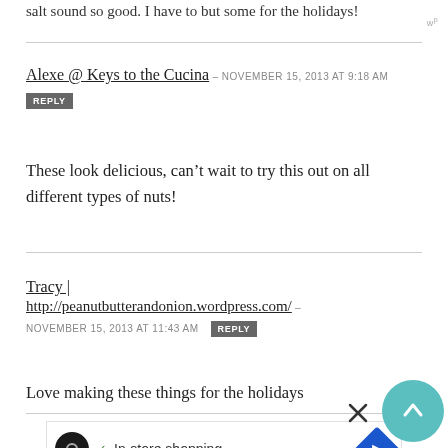salt sound so good. I have to but some for the holidays!
Alexe @ Keys to the Cucina — NOVEMBER 15, 2013 at 9:18 AM
REPLY
These look delicious, can't wait to try this out on all different types of nuts!
Tracy|
http://peanutbutterandonion.wordpress.com/ – NOVEMBER 15, 2013 at 11:43 AM
REPLY
Love making these things for the holidays
[Figure (other): Advertisement banner with In-store shopping text and navigation icons]